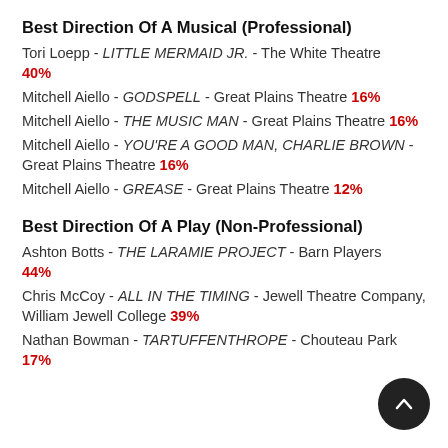Best Direction Of A Musical (Professional)
Tori Loepp - LITTLE MERMAID JR. - The White Theatre 40%
Mitchell Aiello - GODSPELL - Great Plains Theatre 16%
Mitchell Aiello - THE MUSIC MAN - Great Plains Theatre 16%
Mitchell Aiello - YOU'RE A GOOD MAN, CHARLIE BROWN - Great Plains Theatre 16%
Mitchell Aiello - GREASE - Great Plains Theatre 12%
Best Direction Of A Play (Non-Professional)
Ashton Botts - THE LARAMIE PROJECT - Barn Players 44%
Chris McCoy - ALL IN THE TIMING - Jewell Theatre Company, William Jewell College 39%
Nathan Bowman - TARTUFFENTHROPE - Chouteau Park 17%